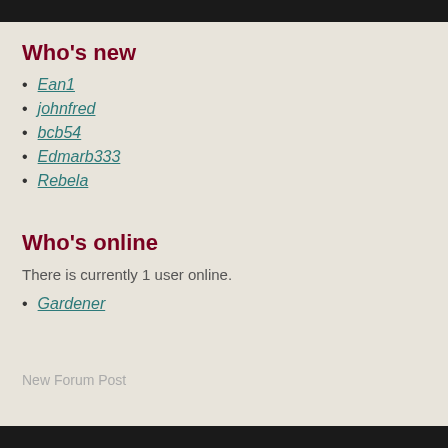Who's new
Ean1
johnfred
bcb54
Edmarb333
Rebela
Who's online
There is currently 1 user online.
Gardener
New Forum Post